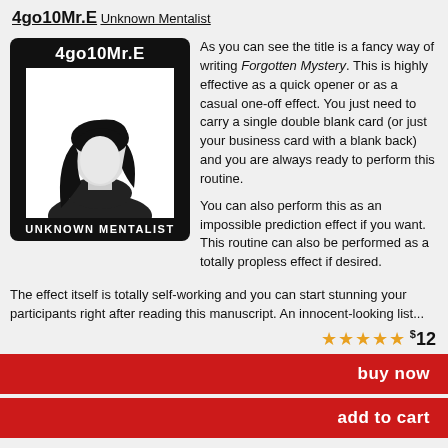4go10Mr.E
Unknown Mentalist
[Figure (photo): Product card with black background showing '4go10Mr.E' title at top, silhouette photo of person with dark hair in center, and 'UNKNOWN MENTALIST' text at bottom]
As you can see the title is a fancy way of writing Forgotten Mystery. This is highly effective as a quick opener or as a casual one-off effect. You just need to carry a single double blank card (or just your business card with a blank back) and you are always ready to perform this routine.

You can also perform this as an impossible prediction effect if you want. This routine can also be performed as a totally propless effect if desired.
The effect itself is totally self-working and you can start stunning your participants right after reading this manuscript. An innocent-looking list...
★★★★★ $12
buy now
add to cart